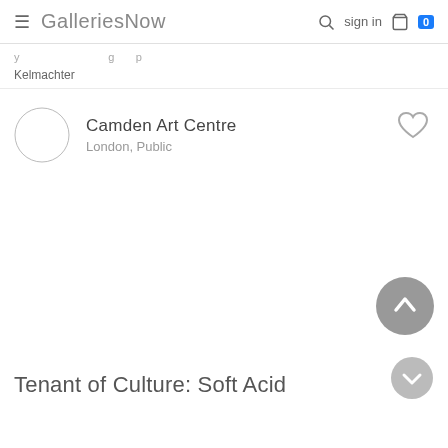GalleriesNow — sign in  0
Kelmachter
Camden Art Centre
London, Public
Tenant of Culture: Soft Acid